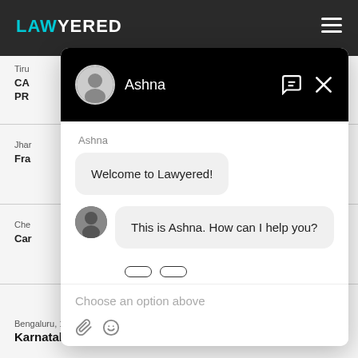[Figure (screenshot): Screenshot of Lawyered website with a chat widget overlay. The background shows the Lawyered website with dark top navigation bar, logo in teal/cyan color, and partially visible lawyer listing content. A chat widget is overlaid showing a chat with 'Ashna', featuring chat messages 'Welcome to Lawyered!' and 'This is Ashna. How can I help you?', an input area with 'Choose an option above' placeholder, and attachment/emoji icons.]